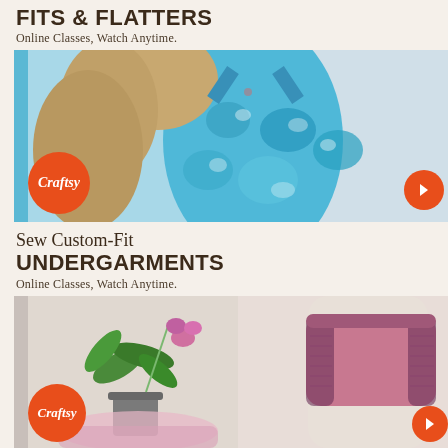FITS & FLATTERS
Online Classes, Watch Anytime.
[Figure (photo): Photo of a mannequin wearing a blue floral patterned swimsuit/dress on a light background, with Craftsy logo badge and orange arrow button]
Sew Custom-Fit UNDERGARMENTS
Online Classes, Watch Anytime.
[Figure (photo): Photo showing pink/mauve lace underwear on a mannequin on the right, and a potted orchid plant on the left, with Craftsy logo badge]